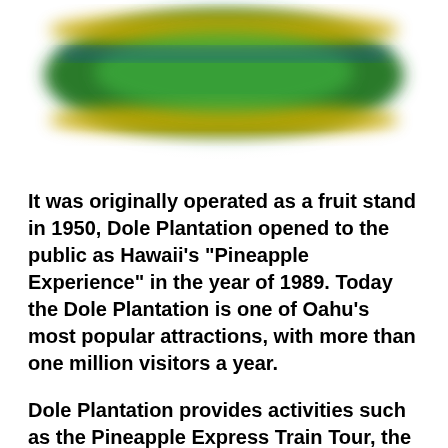[Figure (photo): Partial view of a Dole Plantation product or sign — green and yellow colors, appears to be a logo or package, blurred/cropped at top]
It was originally operated as a fruit stand in 1950, Dole Plantation opened to the public as Hawaii's "Pineapple Experience" in the year of 1989. Today the Dole Plantation is one of Oahu's most popular attractions, with more than one million visitors a year.
Dole Plantation provides activities such as the Pineapple Express Train Tour, the Plantation Garden Tour,